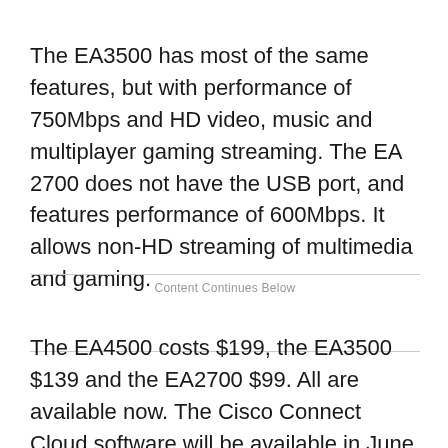The EA3500 has most of the same features, but with performance of 750Mbps and HD video, music and multiplayer gaming streaming. The EA 2700 does not have the USB port, and features performance of 600Mbps. It allows non-HD streaming of multimedia and gaming.
Content Continues Below
The EA4500 costs $199, the EA3500 $139 and the EA2700 $99. All are available now. The Cisco Connect Cloud software will be available in June at no additional charge.